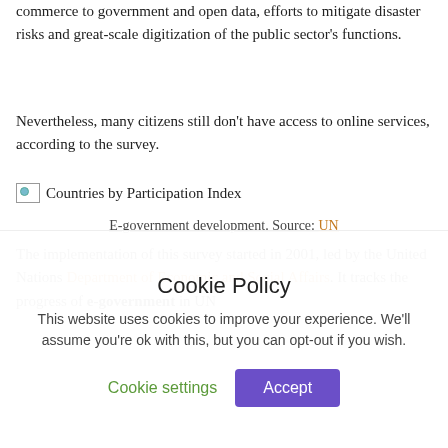commerce to government and open data, efforts to mitigate disaster risks and great-scale digitization of the public sector's functions.
Nevertheless, many citizens still don't have access to online services, according to the survey.
[Figure (other): Broken image placeholder for 'Countries by Participation Index']
E-government development. Source: UN
The implementation of this survey started in 2001, led by the United Nations Department of Economic and Social Affairs. It tracks the progress of e-government in UN
Cookie Policy

This website uses cookies to improve your experience. We'll assume you're ok with this, but you can opt-out if you wish.

Cookie settings   Accept